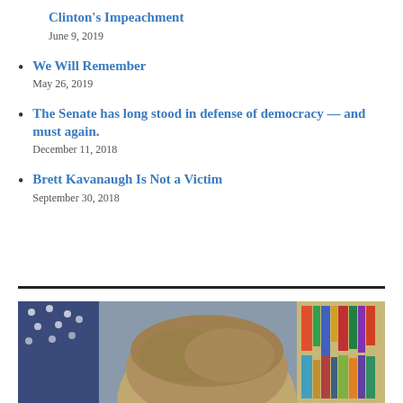Clinton's Impeachment
June 9, 2019
We Will Remember
May 26, 2019
The Senate has long stood in defense of democracy — and must again.
December 11, 2018
Brett Kavanaugh Is Not a Victim
September 30, 2018
[Figure (photo): Close-up photo of a person's head with brown/grey hair, with an American flag visible on the left side and bookshelves visible in the background on the right.]